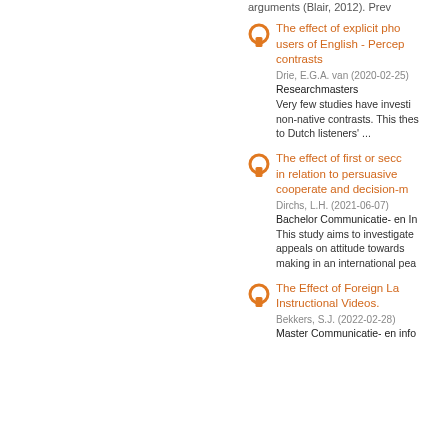arguments (Blair, 2012). Prev
The effect of explicit pho users of English - Percep contrasts
Drie, E.G.A. van (2020-02-25)
Researchmasters
Very few studies have investi non-native contrasts. This thes to Dutch listeners' ...
The effect of first or seco in relation to persuasive cooperate and decision-m
Dirchs, L.H. (2021-06-07)
Bachelor Communicatie- en In
This study aims to investigate appeals on attitude towards making in an international pea
The Effect of Foreign La Instructional Videos.
Bekkers, S.J. (2022-02-28)
Master Communicatie- en info